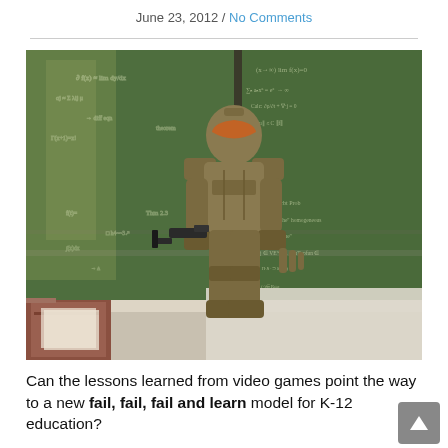June 23, 2012 / No Comments
[Figure (photo): A Halo Master Chief Spartan armored figure standing in front of a green chalkboard covered in mathematical equations, leaning against a classroom desk or table. The classroom setting includes a window on the left side casting light, and what appears to be books or binders on a teacher's desk at the lower left.]
Can the lessons learned from video games point the way to a new fail, fail, fail and learn model for K-12 education?